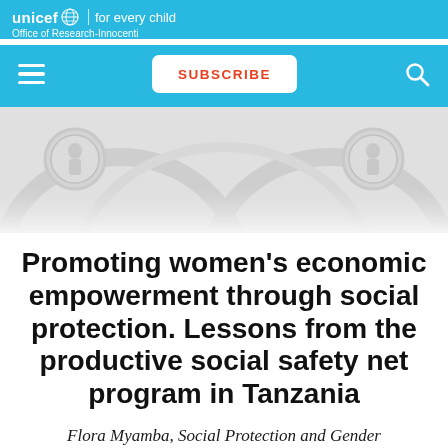unicef | for every child
Office of Research-Innocenti
[Figure (screenshot): UNICEF website navigation bar with hamburger menu, SUBSCRIBE button (orange text on white), and search icon on cyan/blue background]
[Figure (photo): Decorative architectural relief image showing white sculptural figures in circular medallions with arched forms, light gray/white tones]
Promoting women's economic empowerment through social protection. Lessons from the productive social safety net program in Tanzania
Flora Myamba, Social Protection and Gender